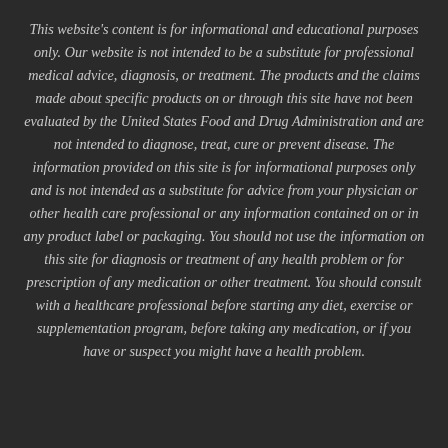This website's content is for informational and educational purposes only. Our website is not intended to be a substitute for professional medical advice, diagnosis, or treatment. The products and the claims made about specific products on or through this site have not been evaluated by the United States Food and Drug Administration and are not intended to diagnose, treat, cure or prevent disease. The information provided on this site is for informational purposes only and is not intended as a substitute for advice from your physician or other health care professional or any information contained on or in any product label or packaging. You should not use the information on this site for diagnosis or treatment of any health problem or for prescription of any medication or other treatment. You should consult with a healthcare professional before starting any diet, exercise or supplementation program, before taking any medication, or if you have or suspect you might have a health problem.